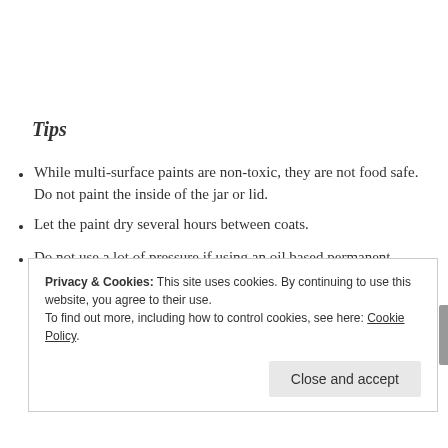Tips
While multi-surface paints are non-toxic, they are not food safe. Do not paint the inside of the jar or lid.
Let the paint dry several hours between coats.
Do not use a lot of pressure if using an oil based permanent marker on top of paint, it can pull the paint off the glass.
Privacy & Cookies: This site uses cookies. By continuing to use this website, you agree to their use. To find out more, including how to control cookies, see here: Cookie Policy